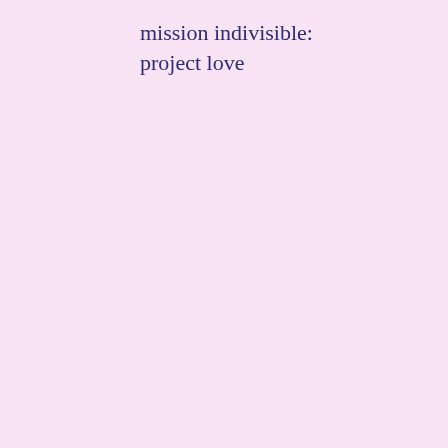mission indivisible:
project love